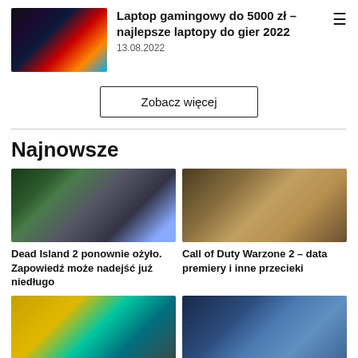Laptop gamingowy do 5000 zł – najlepsze laptopy do gier 2022
13.08.2022
Zobacz więcej
Najnowsze
[Figure (photo): Gaming laptop with colorful RGB keyboard lighting]
[Figure (photo): Dead Island 2 game screenshot showing zombie in apocalyptic setting]
Dead Island 2 ponownie ożyło. Zapowiedź może nadejść już niedługo
[Figure (photo): Call of Duty Warzone 2 soldier character art]
Call of Duty Warzone 2 – data premiery i inne przecieki
[Figure (photo): Game screenshot with green glowing signs]
[Figure (photo): Fantasy game artwork with muscular character]